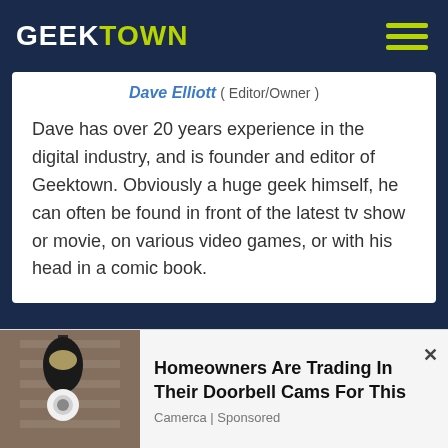GEEKTOWN
Dave Elliott ( Editor/Owner )
Dave has over 20 years experience in the digital industry, and is founder and editor of Geektown. Obviously a huge geek himself, he can often be found in front of the latest tv show or movie, on various video games, or with his head in a comic book.
Microsoft Lumia and the #MakeItHappen Campaign: Making Dreams Come True for the New Year
Bollywood To Remake Forrest Gump
August 23, 2022
In "Movie News"
Homeowners Are Trading In Their Doorbell Cams For This
Camerca | Sponsored